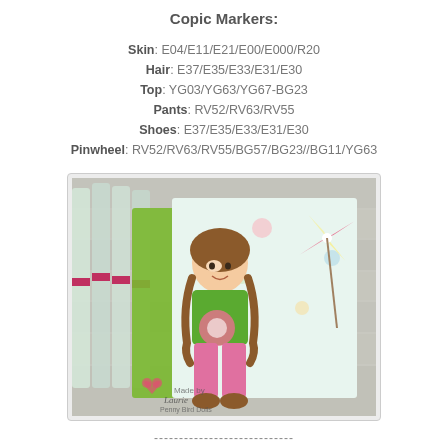Copic Markers:
Skin: E04/E11/E21/E00/E000/R20
Hair: E37/E35/E33/E31/E30
Top: YG03/YG63/YG67-BG23
Pants: RV52/RV63/RV55
Shoes: E37/E35/E33/E31/E30
Pinwheel: RV52/RV63/RV55/BG57/BG23//BG11/YG63
[Figure (photo): Photo of a colored stamp image of a girl with braids holding a pinwheel, colored with Copic markers, displayed alongside Copic marker pens on a wooden surface. Watermark reads 'Made by Laurie Penny Bird Dolls'.]
----------------------------